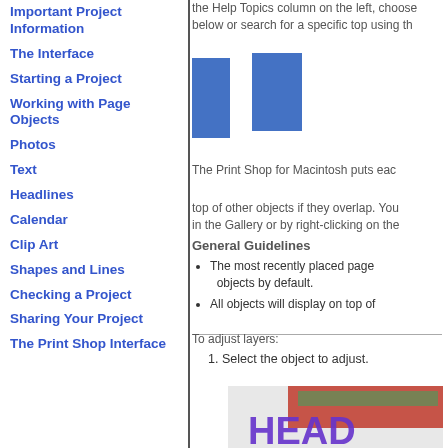Important Project Information
The Interface
Starting a Project
Working with Page Objects
Photos
Text
Headlines
Calendar
Clip Art
Shapes and Lines
Checking a Project
Sharing Your Project
The Print Shop Interface
the Help Topics column on the left, choose below or search for a specific top using th
[Figure (illustration): Two blue rectangular blocks overlapping, representing layered page objects]
The Print Shop for Macintosh puts eac
top of other objects if they overlap. You in the Gallery or by right-clicking on the
General Guidelines
The most recently placed page objects by default.
All objects will display on top of
To adjust layers:
1. Select the object to adjust.
[Figure (photo): Photo showing red roses and a purple headline text reading HEAD]